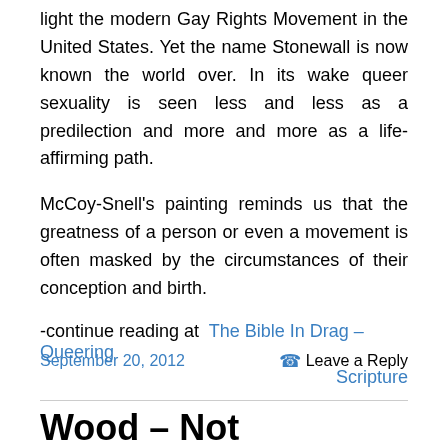light the modern Gay Rights Movement in the United States. Yet the name Stonewall is now known the world over. In its wake queer sexuality is seen less and less as a predilection and more and more as a life-affirming path.
McCoy-Snell's painting reminds us that the greatness of a person or even a movement is often masked by the circumstances of their conception and birth.
-continue reading at  The Bible In Drag – Queering Scripture
September 20, 2012
Leave a Reply
Wood – Not Necessarily for